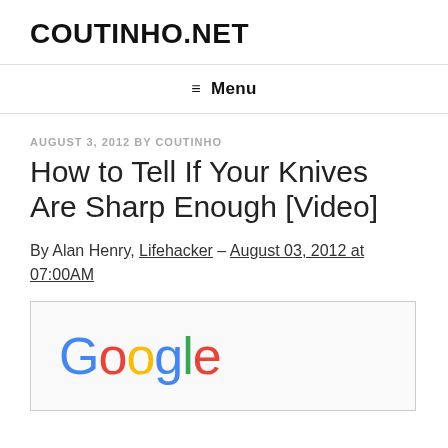COUTINHO.NET
≡ Menu
AUGUST 3, 2012 BY COUTINHO
How to Tell If Your Knives Are Sharp Enough [Video]
By Alan Henry, Lifehacker – August 03, 2012 at 07:00AM
[Figure (screenshot): Embedded video thumbnail showing the Google logo on a white background with a light gray border]